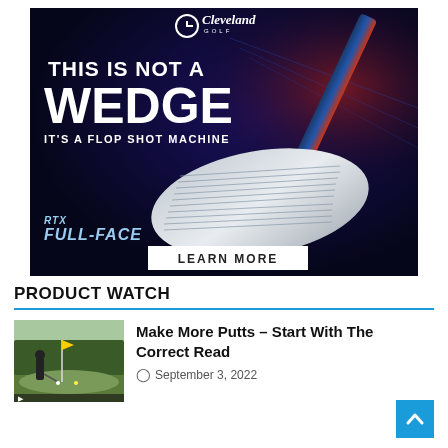[Figure (advertisement): Cleveland Golf advertisement on dark blue/navy background showing a golf wedge club head (RTX Full-Face) with text 'THIS IS NOT A WEDGE — IT'S A FLOP SHOT MACHINE' and a 'LEARN MORE' call-to-action button. Cleveland Golf logo at top.]
PRODUCT WATCH
[Figure (photo): Thumbnail image of a golf putting green with a golfer in the background and a flag/pin visible]
Make More Putts – Start With The Correct Read
September 3, 2022